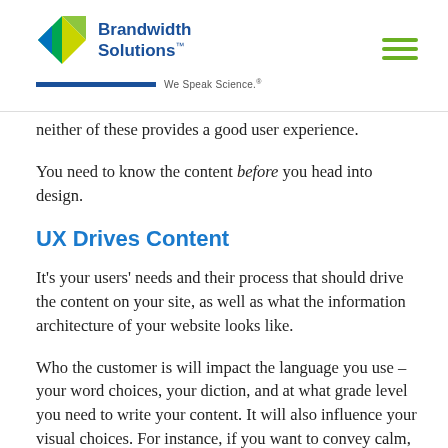Brandwidth Solutions. We Speak Science.
neither of these provides a good user experience.
You need to know the content before you head into design.
UX Drives Content
It's your users' needs and their process that should drive the content on your site, as well as what the information architecture of your website looks like.
Who the customer is will impact the language you use – your word choices, your diction, and at what grade level you need to write your content. It will also influence your visual choices. For instance, if you want to convey calm, trust, or excitement, this will impact your color choices.